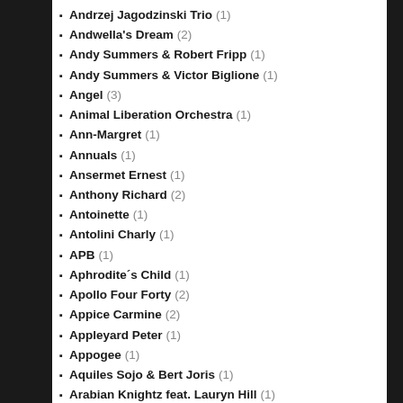Andrzej Jagodzinski Trio (1)
Andwella's Dream (2)
Andy Summers & Robert Fripp (1)
Andy Summers & Victor Biglione (1)
Angel (3)
Animal Liberation Orchestra (1)
Ann-Margret (1)
Annuals (1)
Ansermet Ernest (1)
Anthony Richard (2)
Antoinette (1)
Antolini Charly (1)
APB (1)
Aphrodite´s Child (1)
Apollo Four Forty (2)
Appice Carmine (2)
Appleyard Peter (1)
Appogee (1)
Aquiles Sojo & Bert Joris (1)
Arabian Knightz feat. Lauryn Hill (1)
Arc Angels (1)